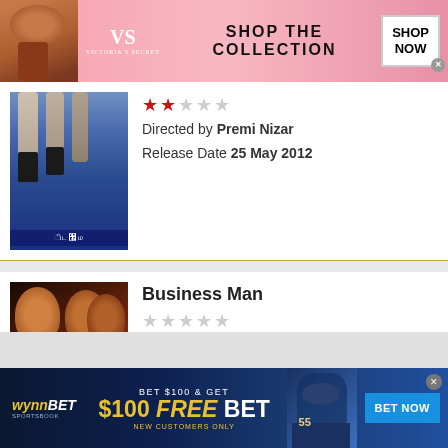[Figure (photo): Victoria's Secret advertisement banner with model, logo, 'SHOP THE COLLECTION' text and 'SHOP NOW' button]
[Figure (photo): Movie poster for first Tamil movie]
Directed by Premi Nizar
Release Date 25 May 2012
Business Man
[Figure (photo): Movie poster for Business Man]
Directed by Puri Jagannadh
Release Date 07 Dec 2012
[Figure (photo): WynnBET Sportsbook advertisement: BET $100 & GET $100 FREE BET - NEW CUSTOMERS ONLY - BET NOW button]